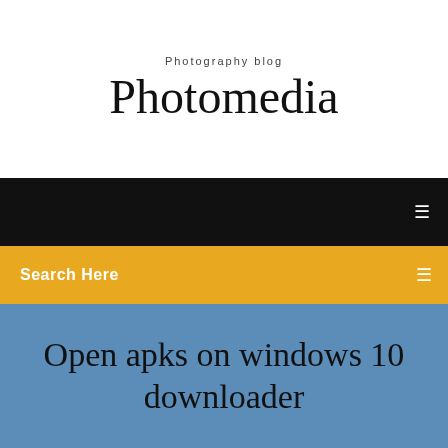Photography blog
Photomedia
Search Here
Open apks on windows 10 downloader